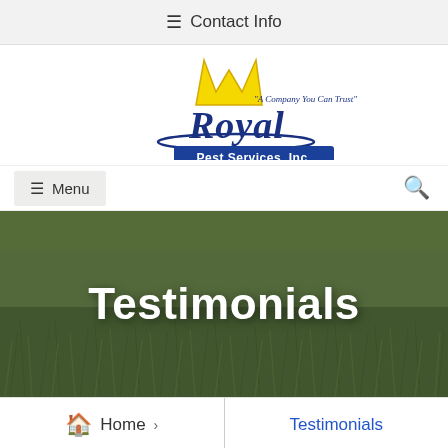☰ Contact Info
[Figure (logo): Royal Pest Services, Inc. logo with yellow crown, blue cursive Royal text, and tagline 'A Company You Can Trust']
☰ Menu
[Figure (photo): Close-up photo of green grass lawn used as hero background image with 'Testimonials' text overlay]
Testimonials
🏠 Home › Testimonials